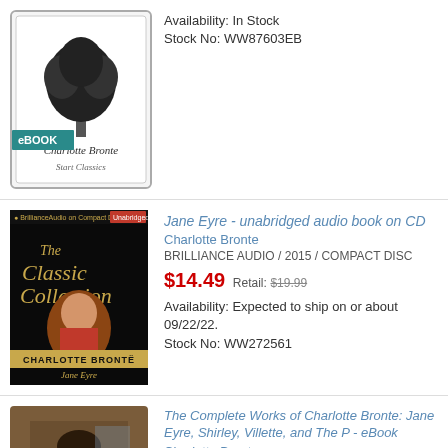[Figure (illustration): eBook cover with tree illustration, Charlotte Bronte, Start Classics, with teal eBOOK badge]
Availability: In Stock
Stock No: WW87603EB
[Figure (photo): The Classic Collection audiobook cover - Charlotte Bronte, Jane Eyre, black cover with woman in red]
Jane Eyre - unabridged audio book on CD
Charlotte Bronte
BRILLIANCE AUDIO / 2015 / COMPACT DISC
$14.49 Retail: $19.99
Availability: Expected to ship on or about 09/22/22.
Stock No: WW272561
[Figure (illustration): Portrait of Charlotte Bronte, woman in dark dress, classical painting style]
The Complete Works of Charlotte Bronte: Jane Eyre, Shirley, Villette, and The P - eBook
Charlotte Bronte
HARPERPERENNIAL CLASSICS / 2014 / EPUB
$0.99